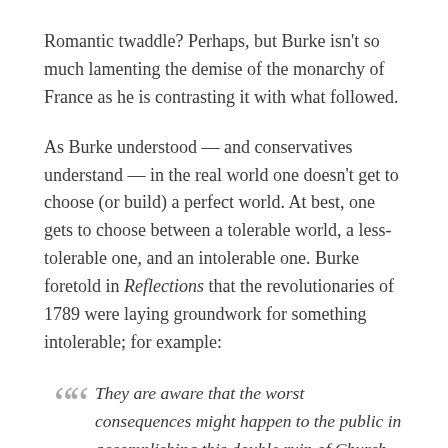Romantic twaddle? Perhaps, but Burke isn't so much lamenting the demise of the monarchy of France as he is contrasting it with what followed.
As Burke understood — and conservatives understand — in the real world one doesn't get to choose (or build) a perfect world. At best, one gets to choose between a tolerable world, a less-tolerable one, and an intolerable one. Burke foretold in Reflections that the revolutionaries of 1789 were laying groundwork for something intolerable; for example:
They are aware that the worst consequences might happen to the public in accomplishing this double ruin of Church and State; but they are so heated